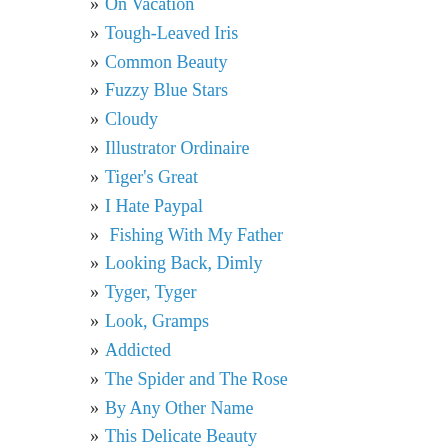» On Vacation
» Tough-Leaved Iris
» Common Beauty
» Fuzzy Blue Stars
» Cloudy
» Illustrator Ordinaire
» Tiger's Great
» I Hate Paypal
»  Fishing With My Father
» Looking Back, Dimly
» Tyger, Tyger
» Look, Gramps
» Addicted
» The Spider and The Rose
» By Any Other Name
» This Delicate Beauty